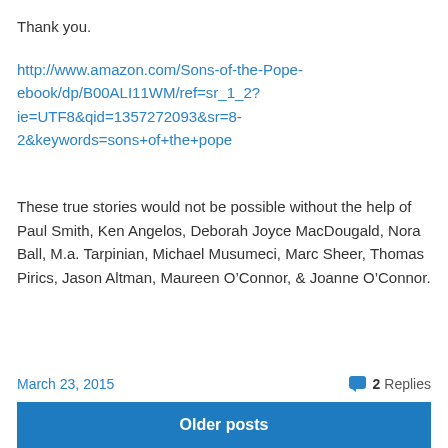Thank you.
http://www.amazon.com/Sons-of-the-Pope-ebook/dp/B00ALI11WM/ref=sr_1_2?ie=UTF8&qid=1357272093&sr=8-2&keywords=sons+of+the+pope
These true stories would not be possible without the help of Paul Smith, Ken Angelos, Deborah Joyce MacDougald, Nora Ball, M.a. Tarpinian, Michael Musumeci, Marc Sheer, Thomas Pirics, Jason Altman, Maureen O’Connor, & Joanne O’Connor.
March 23, 2015
2 Replies
Older posts